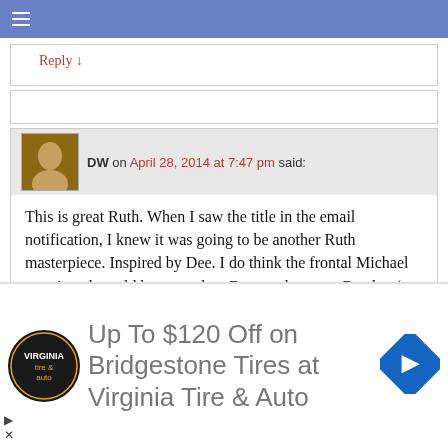Reply ↓
DW on April 28, 2014 at 7:47 pm said:
This is great Ruth. When I saw the title in the email notification, I knew it was going to be another Ruth masterpiece. Inspired by Dee. I do think the frontal Michael mentioned would be a sure bet. Dee can be nurse Ratchet (as in One Flew Over the Coocoo's Nest).
Reply ↓
Dee (Florida) on April 28, 2014 at 8:16 pm said:
u betcha' I can be Nurse Ratchet with Woody.
[Figure (infographic): Advertisement banner: Virginia Tire & Auto logo, text 'Up To $120 Off on Bridgestone Tires at Virginia Tire & Auto', blue diamond navigation arrow icon]